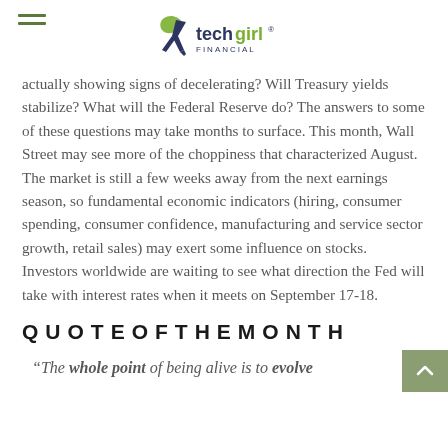techgirl FINANCIAL
actually showing signs of decelerating? Will Treasury yields stabilize? What will the Federal Reserve do? The answers to some of these questions may take months to surface. This month, Wall Street may see more of the choppiness that characterized August. The market is still a few weeks away from the next earnings season, so fundamental economic indicators (hiring, consumer spending, consumer confidence, manufacturing and service sector growth, retail sales) may exert some influence on stocks. Investors worldwide are waiting to see what direction the Fed will take with interest rates when it meets on September 17-18.
QUOTEOFTHEMONTH
“The whole point of being alive is to evolve